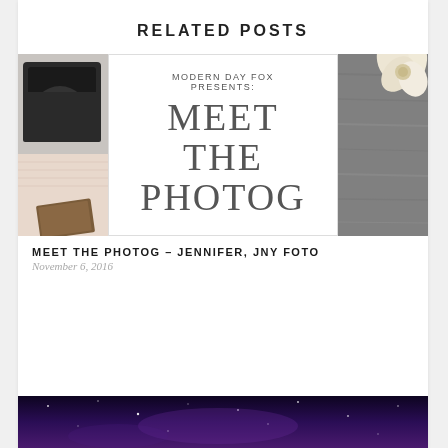RELATED POSTS
[Figure (photo): Blog post card showing three panels: left panel with vintage camera and fabric, center panel with 'Modern Day Fox Presents: Meet The Photog' text on white background, right panel with flower on wooden surface.]
MEET THE PHOTOG – JENNIFER, JNY FOTO
November 6, 2016
[Figure (photo): Bottom strip showing a night sky / galaxy image with purple and dark tones.]